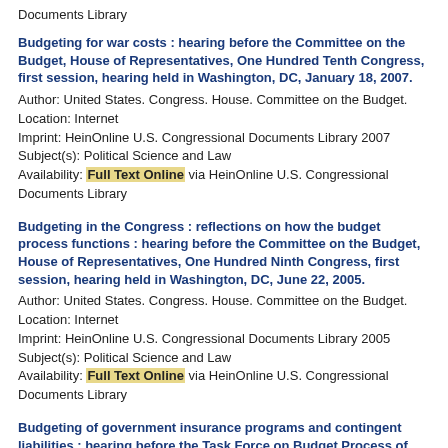Documents Library
Budgeting for war costs : hearing before the Committee on the Budget, House of Representatives, One Hundred Tenth Congress, first session, hearing held in Washington, DC, January 18, 2007.
Author: United States. Congress. House. Committee on the Budget.
Location: Internet
Imprint: HeinOnline U.S. Congressional Documents Library 2007
Subject(s): Political Science and Law
Availability: Full Text Online via HeinOnline U.S. Congressional Documents Library
Budgeting in the Congress : reflections on how the budget process functions : hearing before the Committee on the Budget, House of Representatives, One Hundred Ninth Congress, first session, hearing held in Washington, DC, June 22, 2005.
Author: United States. Congress. House. Committee on the Budget.
Location: Internet
Imprint: HeinOnline U.S. Congressional Documents Library 2005
Subject(s): Political Science and Law
Availability: Full Text Online via HeinOnline U.S. Congressional Documents Library
Budgeting of government insurance programs and contingent liabilities : hearing before the Task Force on Budget Process of the Committee on the Budget, House of Representatives, One Hundred Fifth Congress, second session, hearing held in Washington, DC, April 23, 1998.
Author: United States. Congress. House. Committee on the Budget.